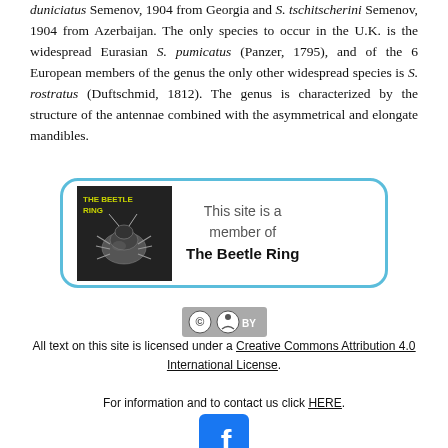duniciatus Semenov, 1904 from Georgia and S. tschitscherini Semenov, 1904 from Azerbaijan. The only species to occur in the U.K. is the widespread Eurasian S. pumicatus (Panzer, 1795), and of the 6 European members of the genus the only other widespread species is S. rostratus (Duftschmid, 1812). The genus is characterized by the structure of the antennae combined with the asymmetrical and elongate mandibles.
[Figure (other): The Beetle Ring membership badge: a box with a blue rounded border containing a black-and-white photo of a beetle (labeled 'THE BEETLE RING') on the left and text 'This site is a member of The Beetle Ring' on the right.]
[Figure (logo): Creative Commons BY license logo badge (CC BY in grey/silver).]
All text on this site is licensed under a Creative Commons Attribution 4.0 International License.
For information and to contact us click HERE.
[Figure (logo): Facebook logo icon (white 'f' on blue square background).]